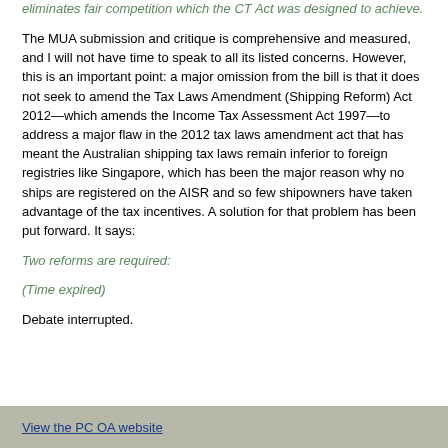eliminates fair competition which the CT Act was designed to achieve.
The MUA submission and critique is comprehensive and measured, and I will not have time to speak to all its listed concerns. However, this is an important point: a major omission from the bill is that it does not seek to amend the Tax Laws Amendment (Shipping Reform) Act 2012—which amends the Income Tax Assessment Act 1997—to address a major flaw in the 2012 tax laws amendment act that has meant the Australian shipping tax laws remain inferior to foreign registries like Singapore, which has been the major reason why no ships are registered on the AISR and so few shipowners have taken advantage of the tax incentives. A solution for that problem has been put forward. It says:
Two reforms are required:
(Time expired)
Debate interrupted.
View the PC OA website